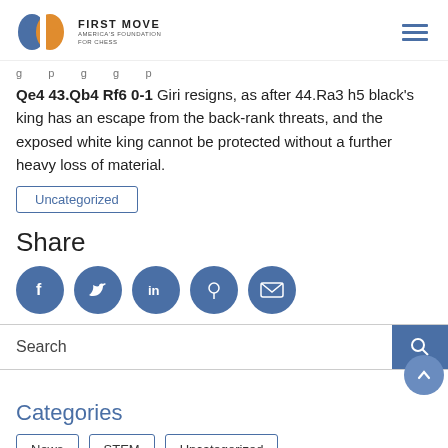FIRST MOVE — AMERICA'S FOUNDATION FOR CHESS
Qe4 43.Qb4 Rf6 0-1 Giri resigns, as after 44.Ra3 h5 black's king has an escape from the back-rank threats, and the exposed white king cannot be protected without a further heavy loss of material.
Uncategorized
Share
[Figure (infographic): Social share icons: Facebook, Twitter, LinkedIn, Pinterest, Email]
Search
Categories
News
STEM
Uncategorized